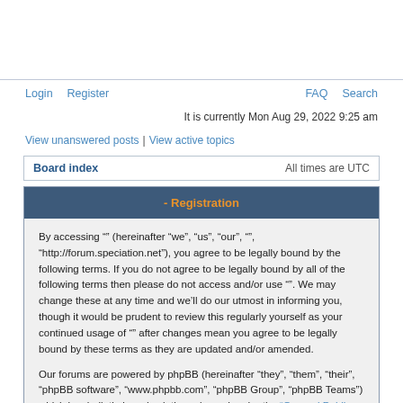Login  Register  FAQ  Search
It is currently Mon Aug 29, 2022 9:25 am
View unanswered posts | View active topics
| Board index | All times are UTC |
| --- | --- |
- Registration
By accessing "" (hereinafter "we", "us", "our", "", "http://forum.speciation.net"), you agree to be legally bound by the following terms. If you do not agree to be legally bound by all of the following terms then please do not access and/or use "". We may change these at any time and we'll do our utmost in informing you, though it would be prudent to review this regularly yourself as your continued usage of "" after changes mean you agree to be legally bound by these terms as they are updated and/or amended.
Our forums are powered by phpBB (hereinafter "they", "them", "their", "phpBB software", "www.phpbb.com", "phpBB Group", "phpBB Teams") which is a bulletin board solution released under the "General Public License" (hereinafter "GPL") and can be downloaded from www.phpbb.com. The phpBB software only facilitates internet based discussions, the phpBB Group are not responsible for what we